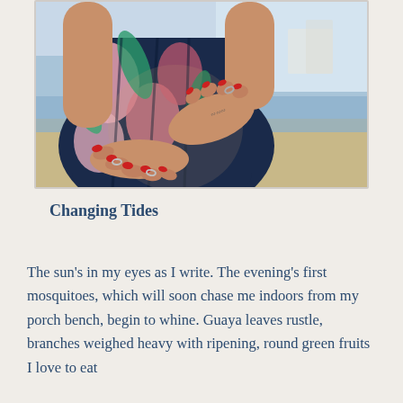[Figure (photo): Close-up photo of a pregnant woman in a colorful floral dress cradling her baby bump with both hands, painted red nails and rings visible, with a beach and blurred waterfront in the background.]
Changing Tides
The sun's in my eyes as I write. The evening's first mosquitoes, which will soon chase me indoors from my porch bench, begin to whine. Guaya leaves rustle, branches weighed heavy with ripening, round green fruits I love to eat